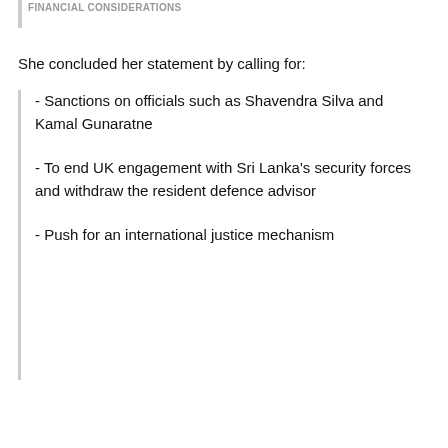FINANCIAL CONSIDERATIONS
She concluded her statement by calling for:
- Sanctions on officials such as Shavendra Silva and Kamal Gunaratne
- To end UK engagement with Sri Lanka's security forces and withdraw the resident defence advisor
- Push for an international justice mechanism